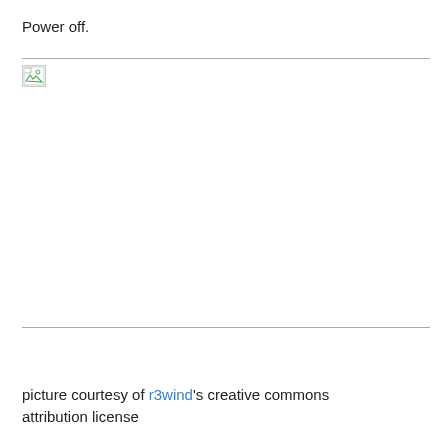Power off.
[Figure (photo): Broken/missing image placeholder with a small thumbnail icon showing a torn image symbol, between two horizontal rules]
picture courtesy of r3wind's creative commons attribution license